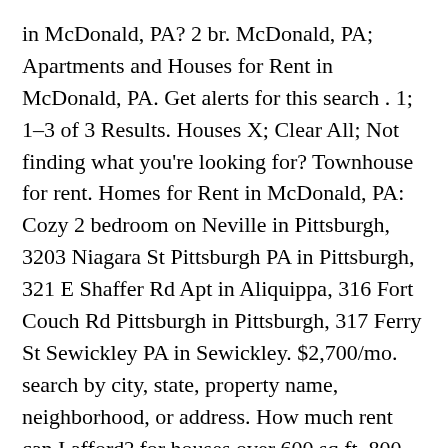in McDonald, PA? 2 br. McDonald, PA; Apartments and Houses for Rent in McDonald, PA. Get alerts for this search . 1; 1–3 of 3 Results. Houses X; Clear All; Not finding what you're looking for? Townhouse for rent. Homes for Rent in McDonald, PA: Cozy 2 bedroom on Neville in Pittsburgh, 3203 Niagara St Pittsburgh PA in Pittsburgh, 321 E Shaffer Rd Apt in Aliquippa, 316 Fort Couch Rd Pittsburgh in Pittsburgh, 317 Ferry St Sewickley PA in Sewickley. $2,700/mo. search by city, state, property name, neighborhood, or address. How much rent can I afford? for houses over 600 sq.ft, 800 sq.ft, 1000 sq.ft, 1200 sq.ft, 1400 sq.ft, 1600 sq.ft. Sort Sort by: Most Popular.